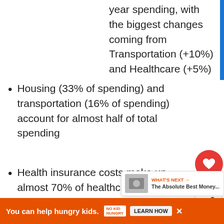year spending, with the biggest changes coming from Transportation (+10%) and Healthcare (+5%)
Housing (33% of spending) and transportation (16% of spending) account for almost half of total spending
Health insurance costs make up almost 70% of healthcare spending
43% of spending on food at restaurants or take-out